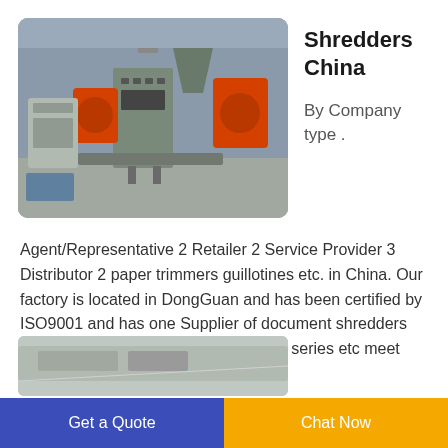[Figure (photo): Industrial shredder machine equipment in a factory/warehouse setting, showing large orange and grey machinery components]
Shredders China
By Company type .
Agent/Representative 2 Retailer 2 Service Provider 3 Distributor 2 paper trimmers guillotines etc. in China. Our factory is located in DongGuan and has been certified by ISO9001 and has one Supplier of document shredders Electronicsimport and paper shredder series etc meet different needs of
[Figure (photo): Partial view of industrial machinery, bottom of page]
Get a Quote
Chat Now